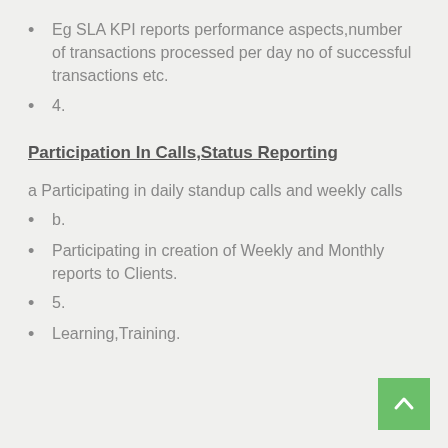Eg SLA KPI reports performance aspects,number of transactions processed per day no of successful transactions etc.
4.
Participation In Calls,Status Reporting
a Participating in daily standup calls and weekly calls
b.
Participating in creation of Weekly and Monthly reports to Clients.
5.
Learning,Training.